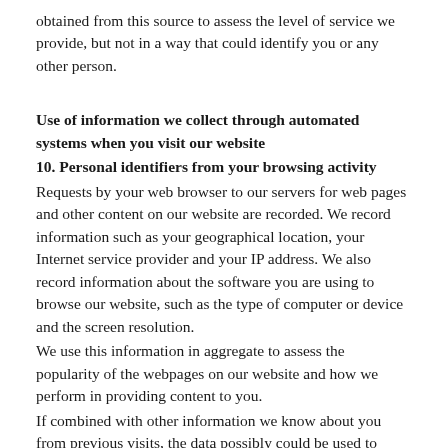obtained from this source to assess the level of service we provide, but not in a way that could identify you or any other person.
Use of information we collect through automated systems when you visit our website
10. Personal identifiers from your browsing activity
Requests by your web browser to our servers for web pages and other content on our website are recorded. We record information such as your geographical location, your Internet service provider and your IP address. We also record information about the software you are using to browse our website, such as the type of computer or device and the screen resolution.
We use this information in aggregate to assess the popularity of the webpages on our website and how we perform in providing content to you.
If combined with other information we know about you from previous visits, the data possibly could be used to identify you personally if someone was determined to